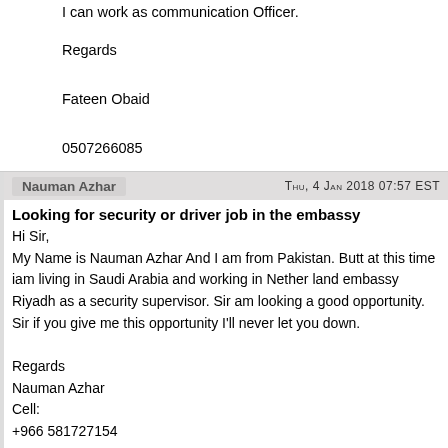I am a journalist
I can work as communication Officer.
Regards

Fateen Obaid

0507266085
Nauman Azhar — Thu, 4 Jan 2018 07:57 EST
Looking for security or driver job in the embassy
Hi Sir,
My Name is Nauman Azhar And I am from Pakistan. Butt at this time iam living in Saudi Arabia and working in Nether land embassy Riyadh as a security supervisor. Sir am looking a good opportunity. Sir if you give me this opportunity I'll never let you down.

Regards
Nauman Azhar
Cell:
+966 581727154
Ruwan R Weerarathne — Mon, 30 Oct 2017 10:10 EDT
Driving job
Driving job Embassy